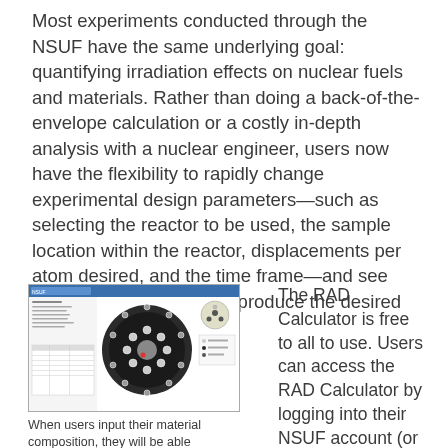Most experiments conducted through the NSUF have the same underlying goal: quantifying irradiation effects on nuclear fuels and materials. Rather than doing a back-of-the-envelope calculation or a costly in-depth analysis with a nuclear engineer, users now have the flexibility to rapidly change experimental design parameters—such as selecting the reactor to be used, the sample location within the reactor, displacements per atom desired, and the time frame—and see which NSUF reactor can produce the desired result, all within seconds.
[Figure (screenshot): Screenshot of RAD Calculator interface showing a reactor cross-section diagram with circular fuel assembly layout and a legend with material compositions.]
When users input their material composition, they will be able
The RAD Calculator is free to all to use. Users can access the RAD Calculator by logging into their NSUF account (or by first creating an